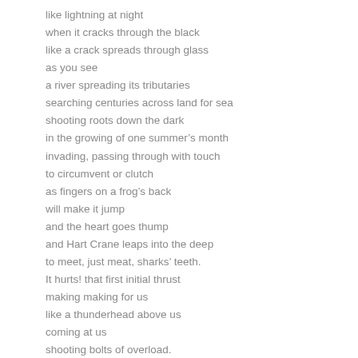like lightning at night
when it cracks through the black
like a crack spreads through glass
as you see
a river spreading its tributaries
searching centuries across land for sea
shooting roots down the dark
in the growing of one summer’s month
invading, passing through with touch
to circumvent or clutch
as fingers on a frog’s back
will make it jump
and the heart goes thump
and Hart Crane leaps into the deep
to meet, just meat, sharks’ teeth.
It hurts! that first initial thrust
making making for us
like a thunderhead above us
coming at us
shooting bolts of overload.